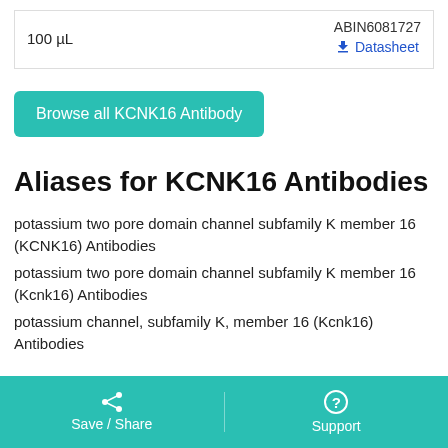| Volume | Code / Link |
| --- | --- |
| 100 µL | ABIN6081727
Datasheet |
Browse all KCNK16 Antibody
Aliases for KCNK16 Antibodies
potassium two pore domain channel subfamily K member 16 (KCNK16) Antibodies
potassium two pore domain channel subfamily K member 16 (Kcnk16) Antibodies
potassium channel, subfamily K, member 16 (Kcnk16) Antibodies
Save / Share   Support